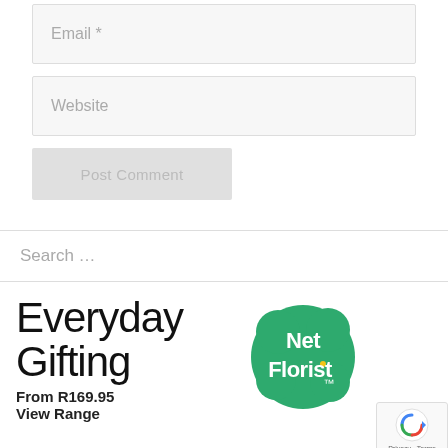[Figure (screenshot): Email input field with placeholder text 'Email *']
[Figure (screenshot): Website input field with placeholder text 'Website']
[Figure (screenshot): Post Comment button, gray/disabled state]
[Figure (screenshot): Search bar with placeholder text 'Search ...']
[Figure (screenshot): Net Florist advertisement with 'Everyday Gifting' text, 'From R169.95', 'View Range', and Net Florist logo bubble. reCAPTCHA badge in bottom right.]